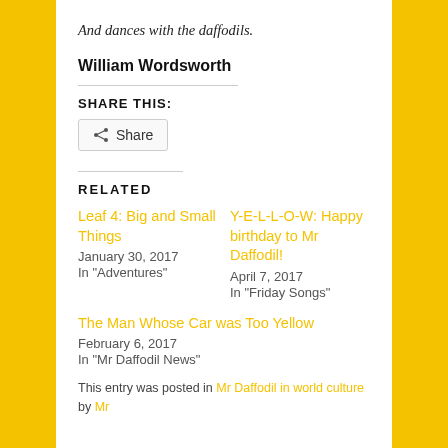And dances with the daffodils.
William Wordsworth
SHARE THIS:
Share
RELATED
Leaf 4: Big and Small Things
January 30, 2017
In "Adventures"
Y-E-L-L-O-W: Happy birthday to Mr Daffodil!
April 7, 2017
In "Friday Songs"
The Man Whose Car was Too Yellow
February 6, 2017
In "Mr Daffodil News"
This entry was posted in Mr Daffodil in world culture by Mr...